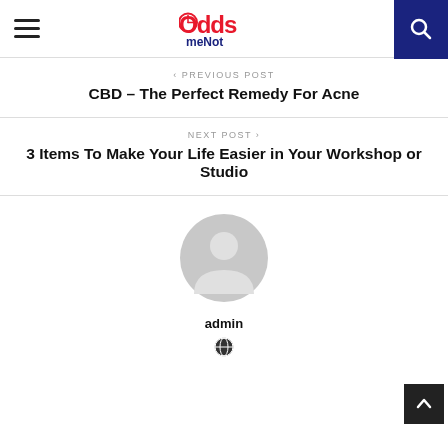OddsmeNot logo with hamburger menu and search button
< PREVIOUS POST
CBD – The Perfect Remedy For Acne
NEXT POST >
3 Items To Make Your Life Easier in Your Workshop or Studio
[Figure (illustration): Default user avatar: circular grey figure with person silhouette]
admin
[Figure (illustration): Globe/world icon]